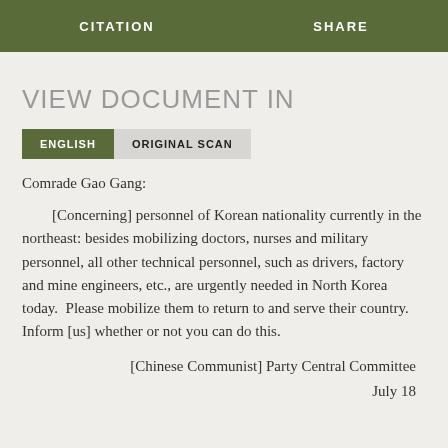CITATION    SHARE
VIEW DOCUMENT IN
ENGLISH    ORIGINAL SCAN
Comrade Gao Gang:
[Concerning] personnel of Korean nationality currently in the northeast: besides mobilizing doctors, nurses and military personnel, all other technical personnel, such as drivers, factory and mine engineers, etc., are urgently needed in North Korea today.  Please mobilize them to return to and serve their country.  Inform [us] whether or not you can do this.
[Chinese Communist] Party Central Committee
July 18